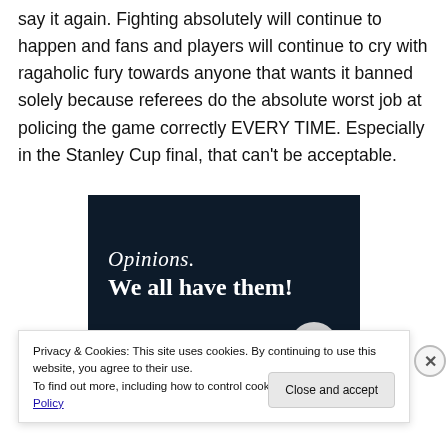say it again. Fighting absolutely will continue to happen and fans and players will continue to cry with ragaholic fury towards anyone that wants it banned solely because referees do the absolute worst job at policing the game correctly EVERY TIME. Especially in the Stanley Cup final, that can't be acceptable.
[Figure (screenshot): Dark navy advertisement banner with italic serif text 'Opinions.' and bold text 'We all have them!' on dark background with pink bar and circle element at bottom.]
Privacy & Cookies: This site uses cookies. By continuing to use this website, you agree to their use.
To find out more, including how to control cookies, see here: Cookie Policy
Close and accept